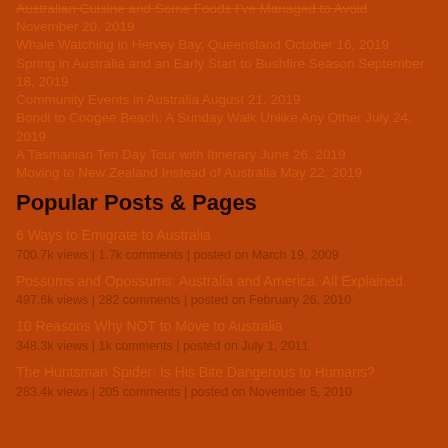Australian Cuisine and Some Foods I've Managed to Avoid November 20, 2019
Whale Watching in Hervey Bay, Queensland October 16, 2019
Spring in Australia and an Early Start to Bushfire Season September 18, 2019
Community Events in Australia August 21, 2019
Bondi to Coogee Beach: A Sunday Walk Unlike Any Other July 24, 2019
A Tasmanian Ten Day Tour with Itinerary June 26, 2019
Moving to New Zealand Instead of Australia May 22, 2019
Popular Posts & Pages
6 Ways to Emigrate to Australia
700.7k views | 1.7k comments | posted on March 19, 2009
Possums and Opossums: Australia and America. All Explained.
497.6k views | 282 comments | posted on February 26, 2010
10 Reasons Why NOT to Move to Australia
348.3k views | 1k comments | posted on July 1, 2011
The Huntsman Spider: Is His Bite Dangerous to Humans?
283.4k views | 205 comments | posted on November 5, 2010